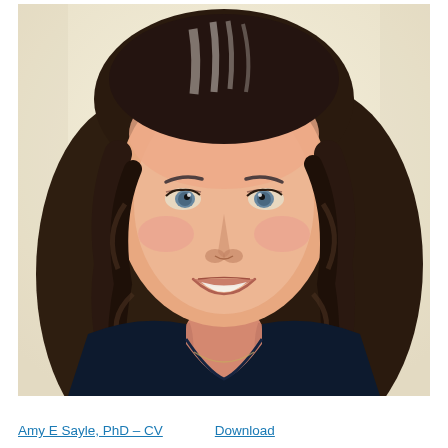[Figure (photo): Professional headshot of Amy E Sayle, PhD. A woman with long curly gray-streaked dark brown hair, smiling warmly, wearing a dark navy top, against a light cream/off-white background.]
Amy E Sayle, PhD – CV    Download